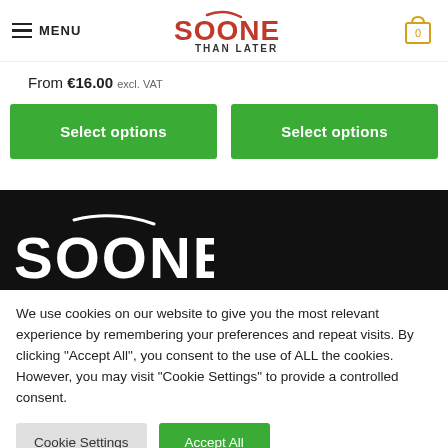MENU | SOONER THAN LATER | Cart: 0
From €16.00 excl. VAT
Select options | Select options
[Figure (logo): Sooner Than Later logo in white on black background]
We use cookies on our website to give you the most relevant experience by remembering your preferences and repeat visits. By clicking "Accept All", you consent to the use of ALL the cookies. However, you may visit "Cookie Settings" to provide a controlled consent.
Cookie Settings | Accept All